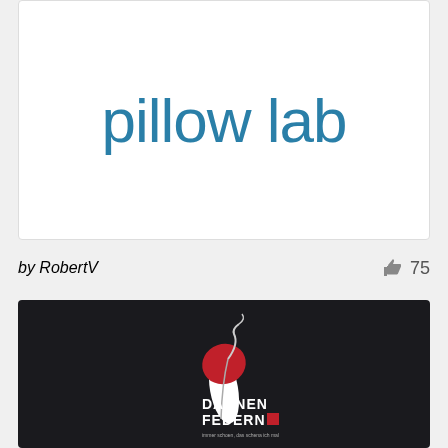[Figure (logo): Pillow lab logo: large teal/blue text reading 'pillow lab' on white background]
by RobertV
75
[Figure (logo): Daunen Federn logo on dark background: stylized red and white feather illustration above text 'DAUNEN FEDERN' with red square accent and tagline 'immer schoen, das schena ich mal']